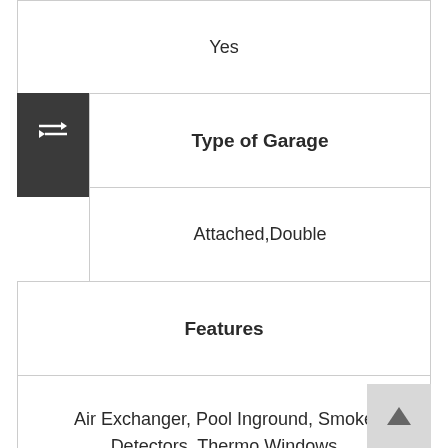| Yes |
| Type of Garage |
| Attached,Double |
| Features |
| Air Exchanger, Pool Inground, Smoke Detectors, Thermo Windows |
| Land Features |
| Fenced, Landscaped |